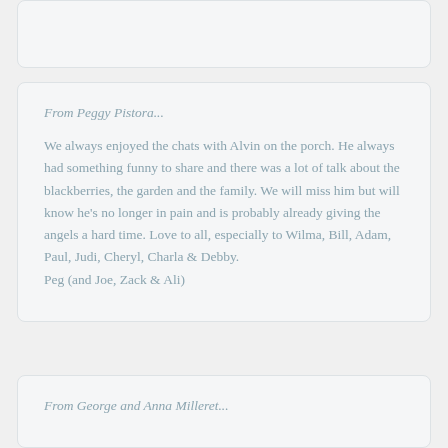From Peggy Pistora...
We always enjoyed the chats with Alvin on the porch. He always had something funny to share and there was a lot of talk about the blackberries, the garden and the family. We will miss him but will know he's no longer in pain and is probably already giving the angels a hard time. Love to all, especially to Wilma, Bill, Adam, Paul, Judi, Cheryl, Charla & Debby.
Peg (and Joe, Zack & Ali)
From George and Anna Milleret...